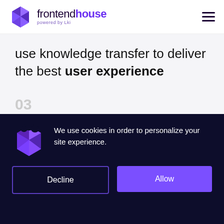frontendhouse powered by Lki
use knowledge transfer to deliver the best user experience
03
Technology
We use cookies in order to personalize your site experience.